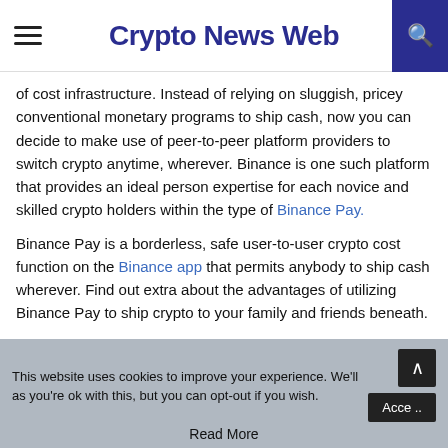Crypto News Web
of cost infrastructure. Instead of relying on sluggish, pricey conventional monetary programs to ship cash, now you can decide to make use of peer-to-peer platform providers to switch crypto anytime, wherever. Binance is one such platform that provides an ideal person expertise for each novice and skilled crypto holders within the type of Binance Pay.
Binance Pay is a borderless, safe user-to-user crypto cost function on the Binance app that permits anybody to ship cash wherever. Find out extra about the advantages of utilizing Binance Pay to ship crypto to your family and friends beneath.
This website uses cookies to improve your experience. We'll as you're ok with this, but you can opt-out if you wish. Accept Read More